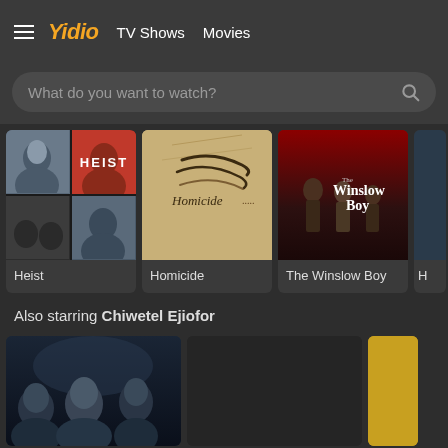≡ Yidio  TV Shows  Movies
What do you want to watch?
[Figure (screenshot): Movie poster for Heist showing collage of actors in dramatic scenes]
Heist
[Figure (screenshot): Movie poster for Homicide showing aged paper with handwriting]
Homicide
[Figure (screenshot): Movie poster for The Winslow Boy showing period-dressed characters]
The Winslow Boy
Also starring Chiwetel Ejiofor
[Figure (screenshot): Movie poster showing three people faces in dark atmospheric setting]
[Figure (screenshot): Dark placeholder movie poster]
[Figure (screenshot): Partial yellow/gold movie poster]